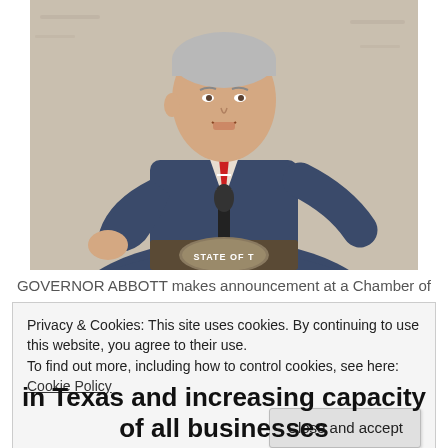[Figure (photo): Governor Abbott speaking at a podium with a State of Texas seal, wearing a blue suit and red striped tie, gesturing with his right hand, in front of a textured beige wall.]
GOVERNOR ABBOTT makes announcement at a Chamber of
Privacy & Cookies: This site uses cookies. By continuing to use this website, you agree to their use.
To find out more, including how to control cookies, see here: Cookie Policy
Close and accept
in Texas and increasing capacity of all businesses